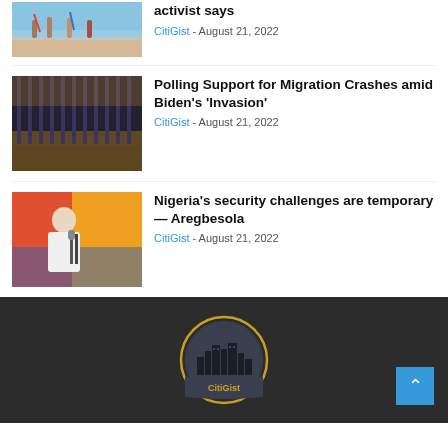[Figure (photo): Beach scene with people and surfboards]
activist says
CitiGist - August 21, 2022
[Figure (photo): Border wall/fence at night or dusk]
Polling Support for Migration Crashes amid Biden's ‘Invasion’
CitiGist - August 21, 2022
[Figure (photo): A man speaking at a podium with microphones, colorful background]
Nigeria’s security challenges are temporary — Aregbesola
CitiGist - August 21, 2022
[Figure (logo): CitiGist logo: circular badge with city skyline silhouette and gold text CitiGist]